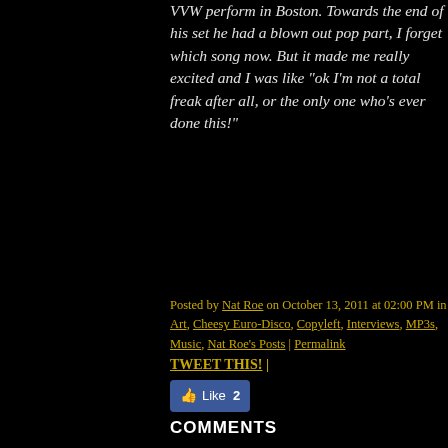VVW perform in Boston. Towards the end of his set he had a blown out pop part, I forget which song now. But it made me really excited and I was like "ok I'm not a total freak after all, or the only one who's ever done this!"
Posted by Nat Roe on October 13, 2011 at 02:00 PM in Art, Cheesy Euro-Disco, Copyleft, Interviews, MP3s, Music, Nat Roe's Posts | Permalink
TWEET THIS! |
[Figure (other): Facebook Like button showing 2 likes]
COMMENTS